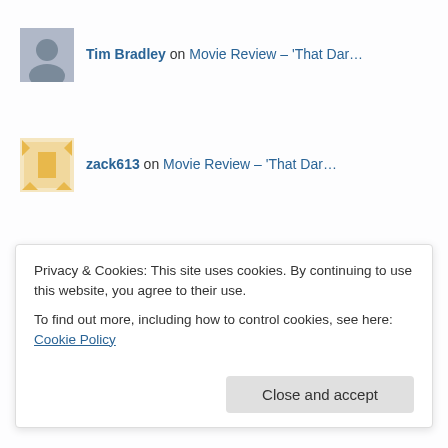Tim Bradley on Movie Review – 'That Dar...'
zack613 on Movie Review – 'That Dar...'
Tim Bradley on Movie Review – 'That Dar...'
ARCHIVES
August 2022 (16)
Privacy & Cookies: This site uses cookies. By continuing to use this website, you agree to their use.
To find out more, including how to control cookies, see here: Cookie Policy
Close and accept